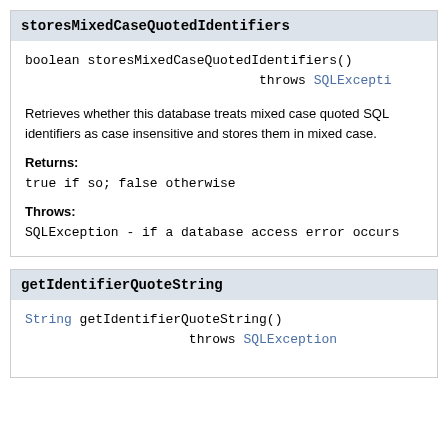storesMixedCaseQuotedIdentifiers
boolean storesMixedCaseQuotedIdentifiers()
                              throws SQLException
Retrieves whether this database treats mixed case quoted SQL identifiers as case insensitive and stores them in mixed case.
Returns:
true if so; false otherwise
Throws:
SQLException - if a database access error occurs
getIdentifierQuoteString
String getIdentifierQuoteString()
                     throws SQLException